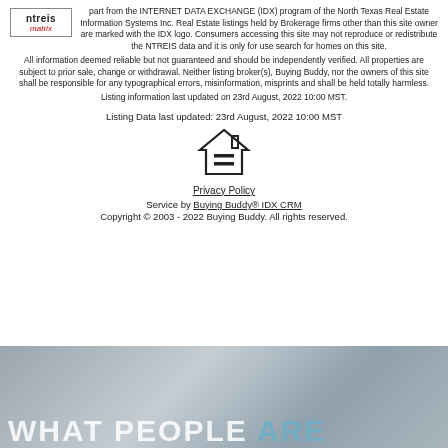part from the INTERNET DATA EXCHANGE (IDX) program of the North Texas Real Estate Information Systems Inc. Real Estate listings held by Brokerage firms other than this site owner are marked with the IDX logo. Consumers accessing this site may not reproduce or redistribute the NTREIS data and it is only for use search for homes on this site. All information deemed reliable but not guaranteed and should be independently verified. All properties are subject to prior sale, change or withdrawal. Neither listing broker(s), Buying Buddy, nor the owners of this site shall be responsible for any typographical errors, misinformation, misprints and shall be held totally harmless. Listing information last updated on 23rd August, 2022 10:00 MST.
Listing Data last updated: 23rd August, 2022 10:00 MST
[Figure (logo): Equal Housing Opportunity logo - house with equal sign]
Privacy Policy
Service by Buying Buddy® IDX CRM
Copyright © 2003 - 2022 Buying Buddy. All rights reserved.
WHAT PEOPLE ARE